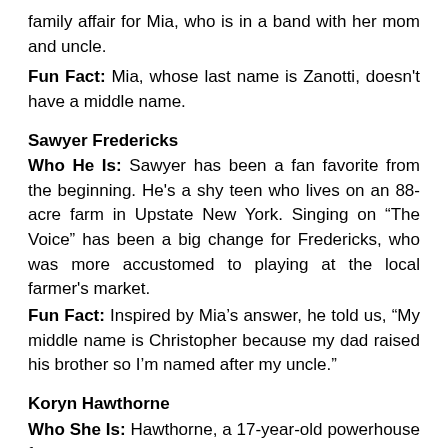family affair for Mia, who is in a band with her mom and uncle.
Fun Fact: Mia, whose last name is Zanotti, doesn't have a middle name.
Sawyer Fredericks
Who He Is: Sawyer has been a fan favorite from the beginning. He's a shy teen who lives on an 88-acre farm in Upstate New York. Singing on “The Voice” has been a big change for Fredericks, who was more accustomed to playing at the local farmer's market.
Fun Fact: Inspired by Mia’s answer, he told us, “My middle name is Christopher because my dad raised his brother so I’m named after my uncle.”
Koryn Hawthorne
Who She Is: Hawthorne, a 17-year-old powerhouse from